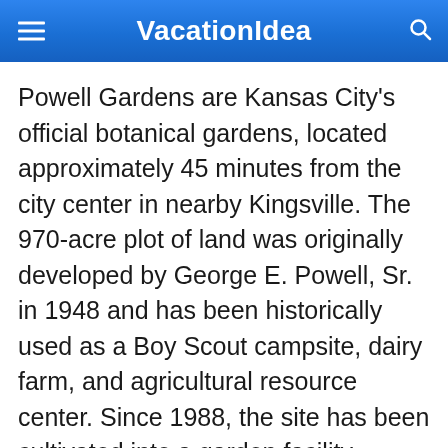VacationIdea
Powell Gardens are Kansas City's official botanical gardens, located approximately 45 minutes from the city center in nearby Kingsville. The 970-acre plot of land was originally developed by George E. Powell, Sr. in 1948 and has been historically used as a Boy Scout campsite, dairy farm, and agricultural resource center. Since 1988, the site has been cultivated into a garden facility showcasing more than 6,000 unique varieties